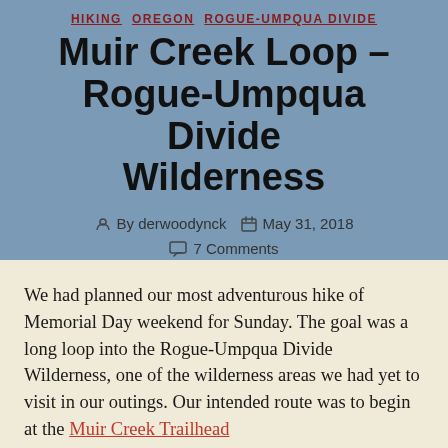HIKING   OREGON   ROGUE-UMPQUA DIVIDE
Muir Creek Loop – Rogue-Umpqua Divide Wilderness
By derwoodynck   May 31, 2018   7 Comments
We had planned our most adventurous hike of Memorial Day weekend for Sunday. The goal was a long loop into the Rogue-Umpqua Divide Wilderness, one of the wilderness areas we had yet to visit in our outings. Our intended route was to begin at the Muir Creek Trailhead